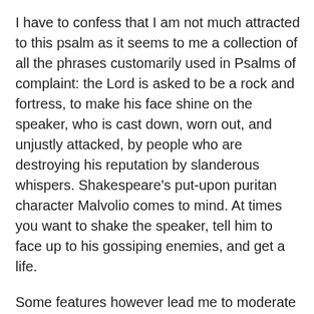I have to confess that I am not much attracted to this psalm as it seems to me a collection of all the phrases customarily used in Psalms of complaint: the Lord is asked to be a rock and fortress, to make his face shine on the speaker, who is cast down, worn out, and unjustly attacked, by people who are destroying his reputation by slanderous whispers. Shakespeare’s put-upon puritan character Malvolio comes to mind. At times you want to shake the speaker, tell him to face up to his gossiping enemies, and get a life.
Some features however lead me to moderate this coarse judgement.
Verse 6 is reported by Luke to have been the final words of Jesus on the cross, which shows that the psalm had